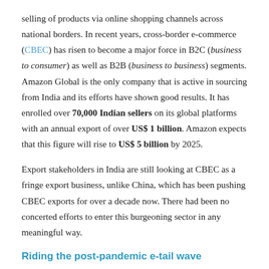selling of products via online shopping channels across national borders. In recent years, cross-border e-commerce (CBEC) has risen to become a major force in B2C (business to consumer) as well as B2B (business to business) segments. Amazon Global is the only company that is active in sourcing from India and its efforts have shown good results. It has enrolled over 70,000 Indian sellers on its global platforms with an annual export of over US$ 1 billion. Amazon expects that this figure will rise to US$ 5 billion by 2025.
Export stakeholders in India are still looking at CBEC as a fringe export business, unlike China, which has been pushing CBEC exports for over a decade now. There had been no concerted efforts to enter this burgeoning sector in any meaningful way.
Riding the post-pandemic e-tail wave
E-commerce was already growing at a fast pace prior to COVID-19 and the growth has only accelerated, looking at the